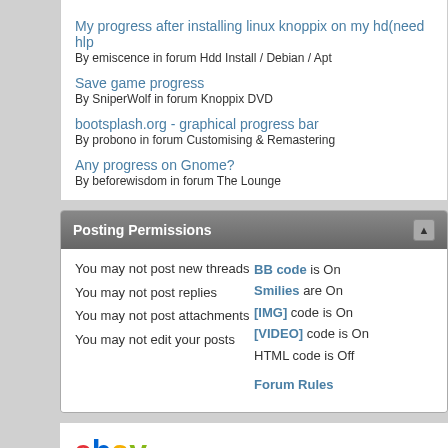My progress after installing linux knoppix on my hd(need hlp
By emiscence in forum Hdd Install / Debian / Apt
Save game progress
By SniperWolf in forum Knoppix DVD
bootsplash.org - graphical progress bar
By probono in forum Customising & Remastering
Any progress on Gnome?
By beforewisdom in forum The Lounge
Posting Permissions
You may not post new threads
You may not post replies
You may not post attachments
You may not edit your posts
BB code is On
Smilies are On
[IMG] code is On
[VIDEO] code is On
HTML code is Off
Forum Rules
[Figure (logo): eBay logo in multicolor letters]
2TB 256GB USB Flash Drive Thumb U Disk Memory Stick Pen PC L
$15.99